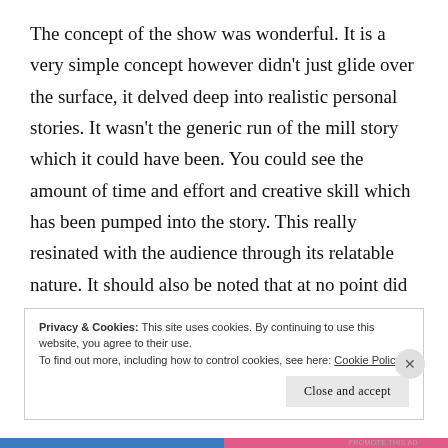The concept of the show was wonderful. It is a very simple concept however didn't just glide over the surface, it delved deep into realistic personal stories. It wasn't the generic run of the mill story which it could have been. You could see the amount of time and effort and creative skill which has been pumped into the story. This really resinated with the audience through its relatable nature. It should also be noted that at no point did the story feel predictable.
Privacy & Cookies: This site uses cookies. By continuing to use this website, you agree to their use.
To find out more, including how to control cookies, see here: Cookie Policy